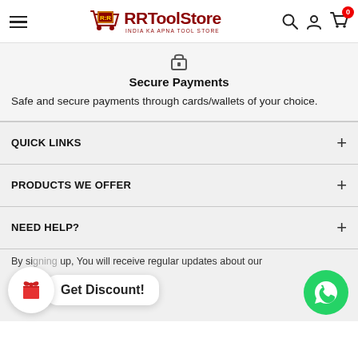RRToolStore — India Ka Apna Tool Store
[Figure (logo): RRToolStore logo with cart icon and tagline 'India Ka Apna Tool Store']
Secure Payments
Safe and secure payments through cards/wallets of your choice.
QUICK LINKS
PRODUCTS WE OFFER
NEED HELP?
By signing up, You will receive regular updates about our
[Figure (illustration): Floating gift icon circle and 'Get Discount!' popup bubble, plus WhatsApp green circle button]